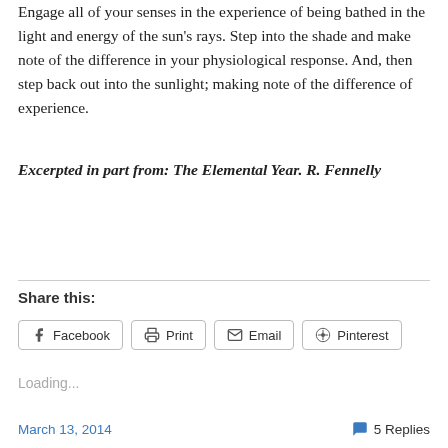Engage all of your senses in the experience of being bathed in the light and energy of the sun's rays. Step into the shade and make note of the difference in your physiological response. And, then step back out into the sunlight; making note of the difference of experience.
Excerpted in part from: The Elemental Year. R. Fennelly
Share this:
Loading...
March 13, 2014   5 Replies